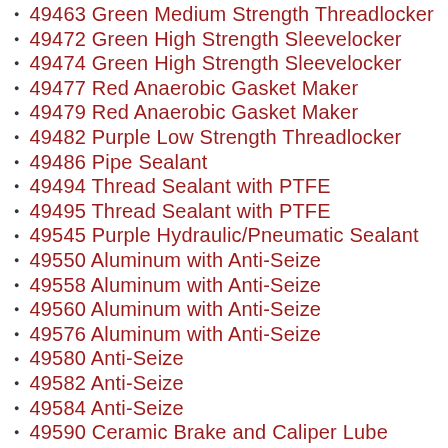49463 Green Medium Strength Threadlocker
49472 Green High Strength Sleevelocker
49474 Green High Strength Sleevelocker
49477 Red Anaerobic Gasket Maker
49479 Red Anaerobic Gasket Maker
49482 Purple Low Strength Threadlocker
49486 Pipe Sealant
49494 Thread Sealant with PTFE
49495 Thread Sealant with PTFE
49545 Purple Hydraulic/Pneumatic Sealant
49550 Aluminum with Anti-Seize
49558 Aluminum with Anti-Seize
49560 Aluminum with Anti-Seize
49576 Aluminum with Anti-Seize
49580 Anti-Seize
49582 Anti-Seize
49584 Anti-Seize
49590 Ceramic Brake and Caliper Lube
49593 Brake System Silicone Compound
49594 White Lithium Grease